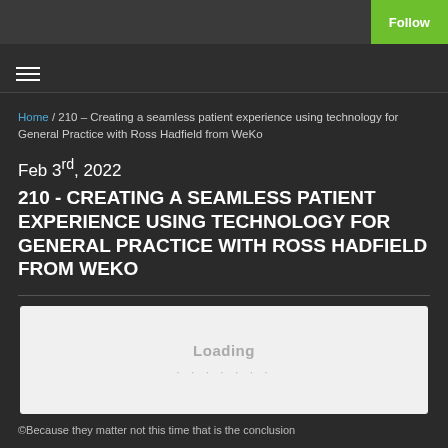Follow
[Figure (other): Hamburger menu icon (three horizontal lines)]
Home / 210 – Creating a seamless patient experience using technology for General Practice with Ross Hadfield from WeKo
Feb 3rd, 2022
210 - CREATING A SEAMLESS PATIENT EXPERIENCE USING TECHNOLOGY FOR GENERAL PRACTICE WITH ROSS HADFIELD FROM WEKO
[Figure (other): Loading audio player widget with text 'Loading' and dots]
©Becausetheymatternotthistimethatistheconclusion